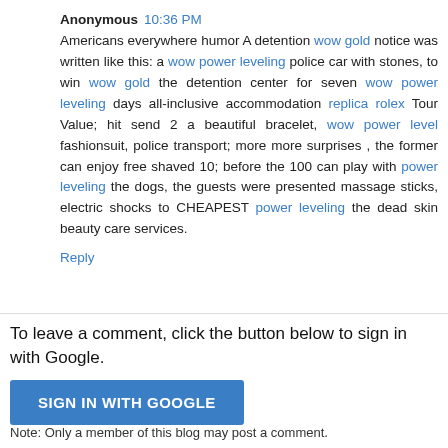Anonymous  10:36 PM
Americans everywhere humor A detention wow gold notice was written like this: a wow power leveling police car with stones, to win wow gold the detention center for seven wow power leveling days all-inclusive accommodation replica rolex Tour Value; hit send 2 a beautiful bracelet, wow power level fashionsuit, police transport; more more surprises , the former can enjoy free shaved 10; before the 100 can play with power leveling the dogs, the guests were presented massage sticks, electric shocks to CHEAPEST power leveling the dead skin beauty care services.
Reply
To leave a comment, click the button below to sign in with Google.
[Figure (other): SIGN IN WITH GOOGLE button]
Note: Only a member of this blog may post a comment.